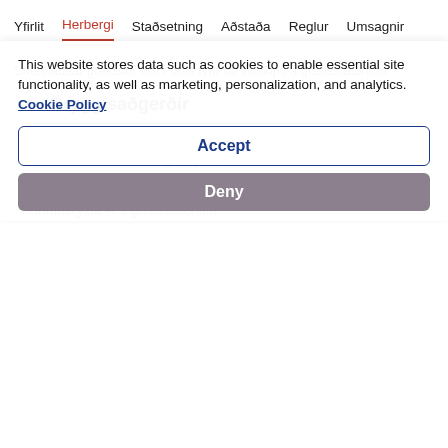Yfirlit  Herbergi  Staðsetning  Aðstaða  Reglur  Umsagnir
Snertilausar greiðslur eru í boði fyrir öll viðskipti á gististaðnum
✓  Öryggisaðgerðir
Starfsfólk gististaðarins notar hlífðarbúnað
Líkamshiti er mældur reglulega hjá starfsfólki
Mælingar á líkamshita eru í boði fyrir gesti
Grímuskylda er á gississtatðnum
This website stores data such as cookies to enable essential site functionality, as well as marketing, personalization, and analytics. Cookie Policy
Accept
Deny